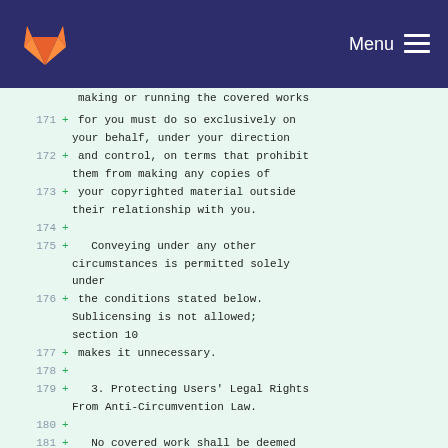GitLab Menu
making or running the covered works
171 + for you must do so exclusively on
    your behalf, under your direction
172 + and control, on terms that prohibit
    them from making any copies of
173 + your copyrighted material outside
    their relationship with you.
174 +
175 +   Conveying under any other
    circumstances is permitted solely
    under
176 + the conditions stated below.
    Sublicensing is not allowed;
    section 10
177 + makes it unnecessary.
178 +
179 +   3. Protecting Users' Legal Rights
    From Anti-Circumvention Law.
180 +
181 +   No covered work shall be deemed